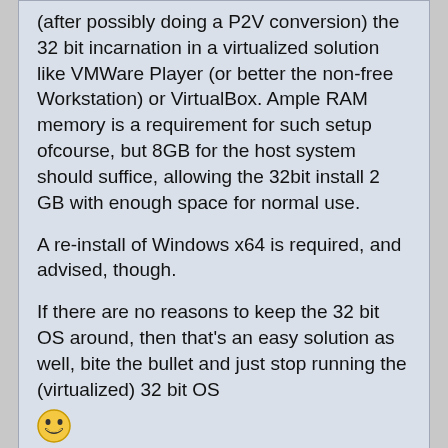(after possibly doing a P2V conversion) the 32 bit incarnation in a virtualized solution like VMWare Player (or better the non-free Workstation) or VirtualBox. Ample RAM memory is a requirement for such setup ofcourse, but 8GB for the host system should suffice, allowing the 32bit install 2 GB with enough space for normal use.
A re-install of Windows x64 is required, and advised, though.
If there are no reasons to keep the 32 bit OS around, then that's an easy solution as well, bite the bullet and just stop running the (virtualized) 32 bit OS
[Figure (illustration): Smiley face emoji (grinning face)]
wraith808
Re: Upgrade to Windows 64-bit